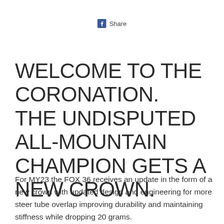[Figure (logo): Facebook share button icon with 'Share' text label]
WELCOME TO THE CORONATION. THE UNDISPUTED ALL-MOUNTAIN CHAMPION GETS A NEW CROWN.
For MY23 the FOX 36 receives an update in the form of a new crown with updated design and engineering for more steer tube overlap improving durability and maintaining stiffness while dropping 20 grams.